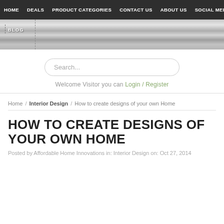HOME  DEALS  PRODUCT CATEGORIES  CONTACT US  ABOUT US  SOCIAL MEDIA
[Figure (other): Brushed metallic gradient banner with BLOG label and dotted vertical line]
Search...
Welcome Visitor you can Login / Register
Home / Interior Design / How to create designs of your own Home
HOW TO CREATE DESIGNS OF YOUR OWN HOME
Posted by Affordable Home Innovations in: Interior Design on: Oct 27, 2014